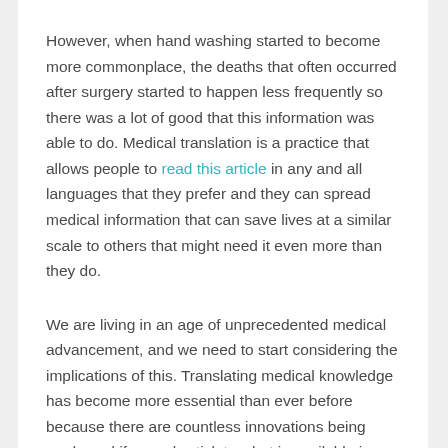However, when hand washing started to become more commonplace, the deaths that often occurred after surgery started to happen less frequently so there was a lot of good that this information was able to do. Medical translation is a practice that allows people to read this article in any and all languages that they prefer and they can spread medical information that can save lives at a similar scale to others that might need it even more than they do.
We are living in an age of unprecedented medical advancement, and we need to start considering the implications of this. Translating medical knowledge has become more essential than ever before because there are countless innovations being made and if we only stick to what is available in our own languages we would only ever end up halting the progress of humanity. This is a highly